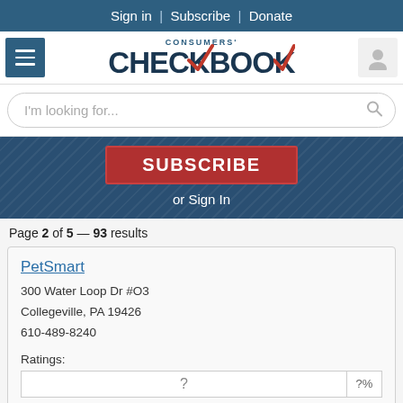Sign in | Subscribe | Donate
[Figure (logo): Consumers' Checkbook logo with red checkmark]
I'm looking for...
[Figure (screenshot): Subscribe button (partially visible) and 'or Sign In' link on blue striped background]
Page 2 of 5 — 93 results
PetSmart
300 Water Loop Dr #O3
Collegeville, PA 19426
610-489-8240
Ratings:
? out of 3 recommended
Tuff Pup Training
423 S 45th St #10